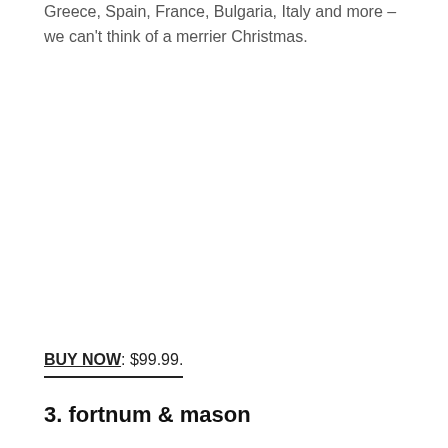Greece, Spain, France, Bulgaria, Italy and more – we can't think of a merrier Christmas.
BUY NOW: $99.99.
3. fortnum & mason